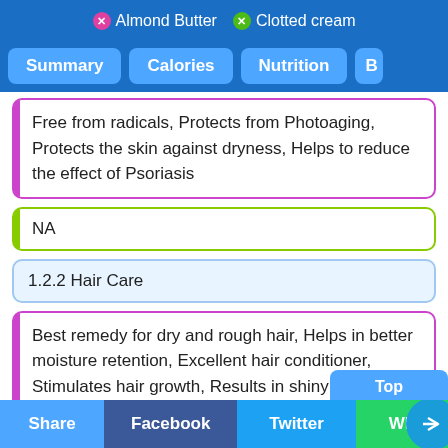X Almond Butter  X Clotted cream
Summary  Calories  Nutrition  B
Free from radicals, Protects from Photoaging, Protects the skin against dryness, Helps to reduce the effect of Psoriasis
NA
1.2.2 Hair Care
Best remedy for dry and rough hair, Helps in better moisture retention, Excellent hair conditioner, Stimulates hair growth, Results in shiny hair, Prevents graying of Hair, Reduces dandruff
NA
Share  Facebook  Twitter  Wh